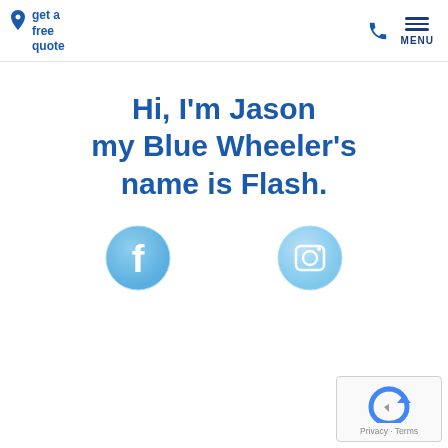get a free quote  |  phone  |  MENU
Hi, I'm Jason my Blue Wheeler's name is Flash.
[Figure (logo): Facebook circular blue button with white 'f' icon]
[Figure (logo): Instagram circular light-blue button with white camera icon]
[Figure (logo): reCAPTCHA badge with spinning arrow logo and Privacy - Terms text]